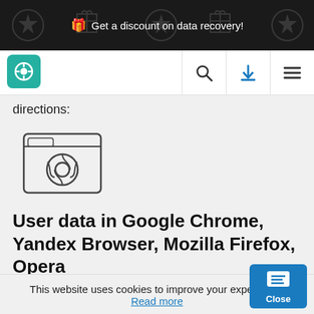Get a discount on data recovery!
[Figure (screenshot): Navigation bar with gear/settings logo icon on left, search icon, blue download icon, and hamburger menu icon on right]
directions:
[Figure (illustration): Browser window icon containing Chrome logo (circle with colored segments)]
User data in Google Chrome, Yandex Browser, Mozilla Firefox, Opera
This website uses cookies to improve your experience. Read more